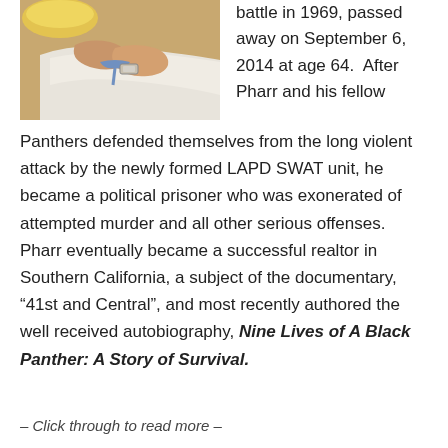[Figure (photo): Close-up photo of hands holding or wrapping something with a light fabric and a blue ribbon or tie, with a bowl visible in the upper left corner.]
battle in 1969, passed away on September 6, 2014 at age 64.  After Pharr and his fellow Panthers defended themselves from the long violent attack by the newly formed LAPD SWAT unit, he became a political prisoner who was exonerated of attempted murder and all other serious offenses.  Pharr eventually became a successful realtor in Southern California, a subject of the documentary, “41st and Central”, and most recently authored the well received autobiography, Nine Lives of A Black Panther: A Story of Survival.
– Click through to read more –